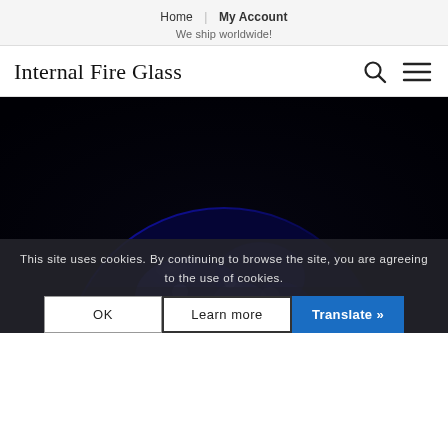Home | My Account
We ship worldwide!
Internal Fire Glass
[Figure (photo): Close-up photograph of a dark glass sphere with vibrant blue and black swirling patterns, resembling a galaxy or nebula — handcrafted art glass piece.]
This site uses cookies. By continuing to browse the site, you are agreeing to the use of cookies.
OK   Learn more   Translate »